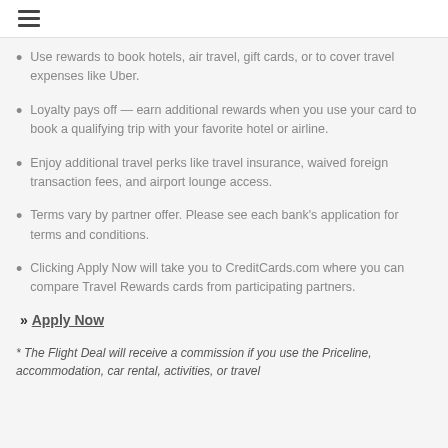☰
Use rewards to book hotels, air travel, gift cards, or to cover travel expenses like Uber.
Loyalty pays off — earn additional rewards when you use your card to book a qualifying trip with your favorite hotel or airline.
Enjoy additional travel perks like travel insurance, waived foreign transaction fees, and airport lounge access.
Terms vary by partner offer. Please see each bank's application for terms and conditions.
Clicking Apply Now will take you to CreditCards.com where you can compare Travel Rewards cards from participating partners.
» Apply Now
* The Flight Deal will receive a commission if you use the Priceline, accommodation, car rental, activities, or travel